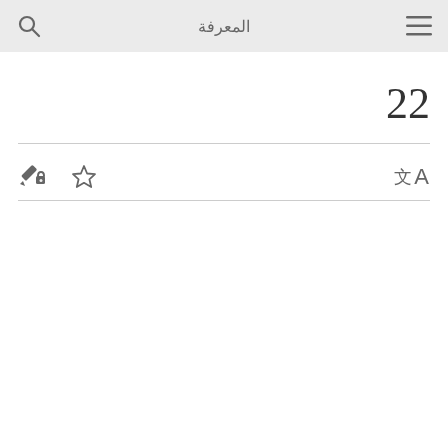المعرفة
22
[Figure (screenshot): Toolbar row with a locked pencil icon, a star (bookmark) icon on the left, and a translate icon (文A) on the right]